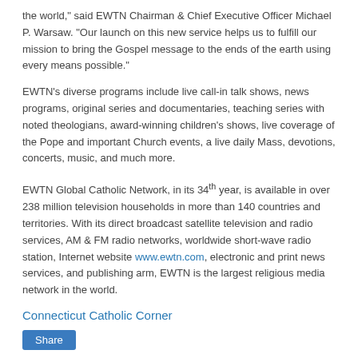the world," said EWTN Chairman & Chief Executive Officer Michael P. Warsaw. "Our launch on this new service helps us to fulfill our mission to bring the Gospel message to the ends of the earth using every means possible."
EWTN's diverse programs include live call-in talk shows, news programs, original series and documentaries, teaching series with noted theologians, award-winning children's shows, live coverage of the Pope and important Church events, a live daily Mass, devotions, concerts, music, and much more.
EWTN Global Catholic Network, in its 34th year, is available in over 238 million television households in more than 140 countries and territories. With its direct broadcast satellite television and radio services, AM & FM radio networks, worldwide short-wave radio station, Internet website www.ewtn.com, electronic and print news services, and publishing arm, EWTN is the largest religious media network in the world.
Connecticut Catholic Corner
Share
2 comments: